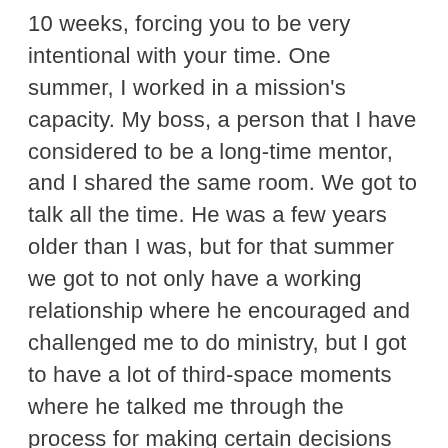10 weeks, forcing you to be very intentional with your time. One summer, I worked in a mission's capacity. My boss, a person that I have considered to be a long-time mentor, and I shared the same room. We got to talk all the time. He was a few years older than I was, but for that summer we got to not only have a working relationship where he encouraged and challenged me to do ministry, but I got to have a lot of third-space moments where he talked me through the process for making certain decisions and how he had gotten to where he was. That summer was an invaluable experience in my life because of his discipleship.